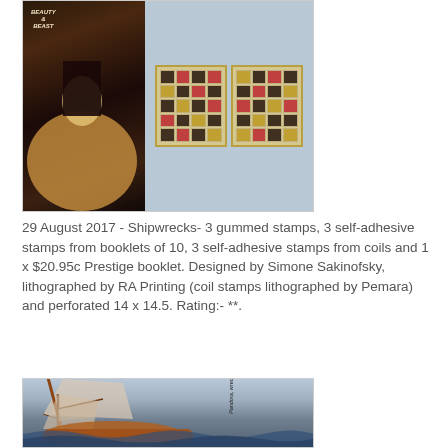[Figure (photo): Beauty and the Beast movie promotional image alongside two stamp sheets featuring characters from the film, on a light blue decorative background with red roses.]
29 August 2017 - Shipwrecks- 3 gummed stamps, 3 self-adhesive stamps from booklets of 10, 3 self-adhesive stamps from coils and 1 x $20.95c Prestige booklet. Designed by Simone Sakinofsky, lithographed by RA Printing (coil stamps lithographed by Pemara) and perforated 14 x 14.5. Rating:- **.
[Figure (photo): Australian postage stamp showing the Pandora shipwreck, a sailing ship wrecked 1791 QM, with stormy seas.]